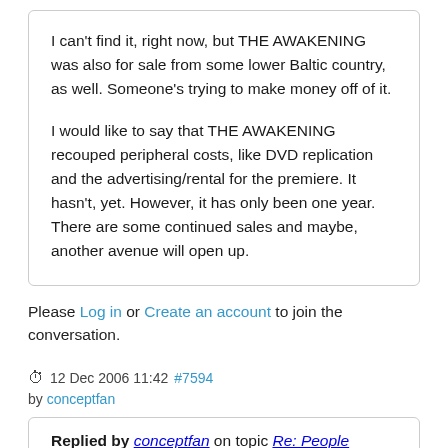I can't find it, right now, but THE AWAKENING was also for sale from some lower Baltic country, as well. Someone's trying to make money off of it.

I would like to say that THE AWAKENING recouped peripheral costs, like DVD replication and the advertising/rental for the premiere. It hasn't, yet. However, it has only been one year. There are some continued sales and maybe, another avenue will open up.
Please Log in or Create an account to join the conversation.
12 Dec 2006 11:42 #7594
by conceptfan
Replied by conceptfan on topic Re: People putting